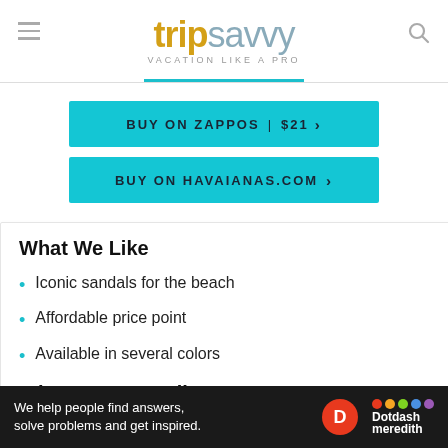tripsavvy VACATION LIKE A PRO
BUY ON ZAPPOS | $21 >
BUY ON HAVAIANAS.COM >
What We Like
Iconic sandals for the beach
Affordable price point
Available in several colors
What We Don't Like
We help people find answers, solve problems and get inspired. Dotdash meredith